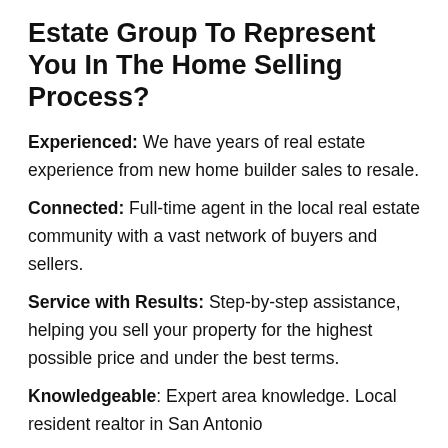Estate Group To Represent You In The Home Selling Process?
Experienced: We have years of real estate experience from new home builder sales to resale.
Connected: Full-time agent in the local real estate community with a vast network of buyers and sellers.
Service with Results: Step-by-step assistance, helping you sell your property for the highest possible price and under the best terms.
Knowledgeable: Expert area knowledge. Local resident realtor in San Antonio